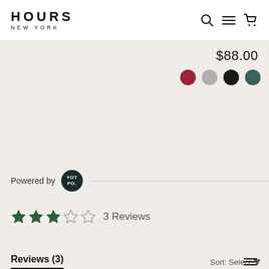HOURS NEW YORK
$88.00
[Figure (illustration): Four color swatches (circles): burgundy/red, light gray, black, dark teal]
Powered by YOTPO
[Figure (other): Star rating: 3 out of 5 stars, 3 Reviews]
Reviews (3)
Sort: Select